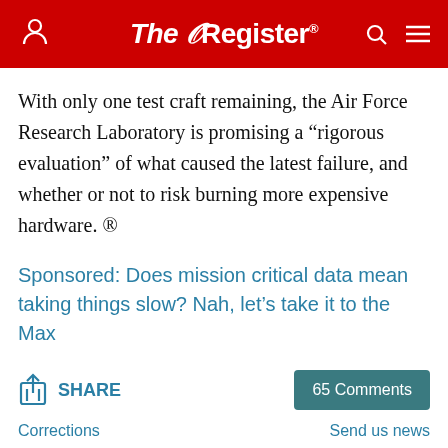The Register
With only one test craft remaining, the Air Force Research Laboratory is promising a “rigorous evaluation” of what caused the latest failure, and whether or not to risk burning more expensive hardware. ®
Sponsored: Does mission critical data mean taking things slow? Nah, let’s take it to the Max
SHARE
65 Comments
Corrections
Send us news
[Figure (photo): Two cropped photos at bottom of page, partially visible]